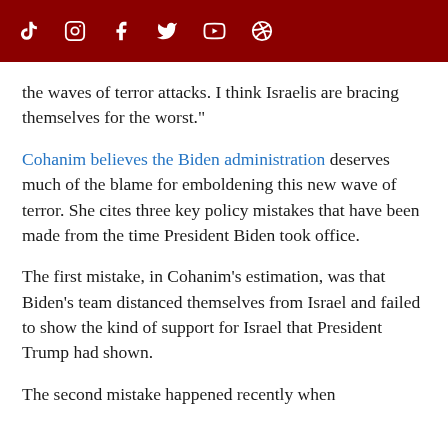[social media icons: TikTok, Instagram, Facebook, Twitter, YouTube, Pinterest]
the waves of terror attacks. I think Israelis are bracing themselves for the worst."
Cohanim believes the Biden administration deserves much of the blame for emboldening this new wave of terror. She cites three key policy mistakes that have been made from the time President Biden took office.
The first mistake, in Cohanim's estimation, was that Biden's team distanced themselves from Israel and failed to show the kind of support for Israel that President Trump had shown.
The second mistake happened recently when